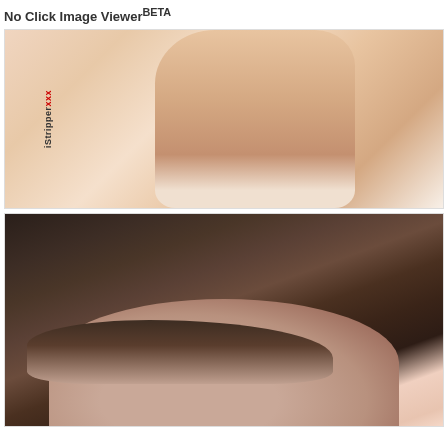No Click Image ViewerBETA
[Figure (photo): Close-up photo of a person's legs/thighs against a white background, with a watermark reading 'iStripper.xxx' rotated vertically on the left side]
[Figure (photo): Close-up photo of a dark-haired person's face and hair looking toward the camera from a low angle, against a white background]